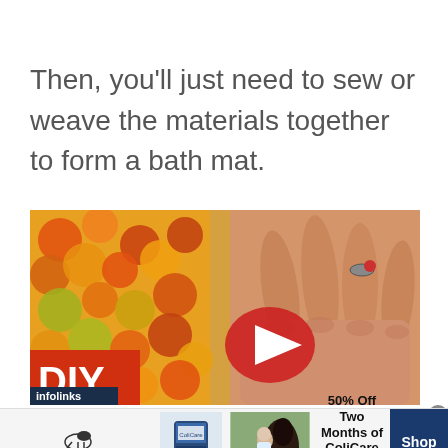Then, you’ll just need to sew or weave the materials together to form a bath mat.
[Figure (screenshot): DIY video thumbnail showing a colorful textured bath mat made of orange, yellow and green pom-poms, with a person's hand touching it. A YouTube-style red play button overlay is visible in the center. A 'DIY' label in white text on red background appears in the lower left corner. An 'infolinks' badge appears in the bottom left.]
[Figure (photo): SmartPak advertisement banner showing the SmartPak logo with a horse icon, a product supplement container, a photo of a woman with a horse, text reading '50% Off Two Months of ColiCare / ColiCare Eligible Supplements / CODE: COLICARE10', and a navy blue 'Shop Now' button. A grey close X button appears in the top right.]